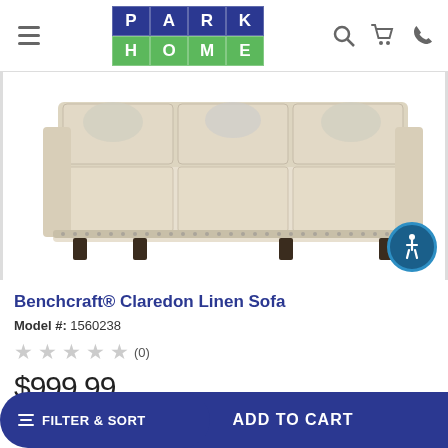Park Home — navigation header with logo, search, cart, phone icons
[Figure (photo): Benchcraft Claredon Linen Sofa product photo — beige linen three-seat sofa with nail-head trim and decorative pillows]
Benchcraft® Claredon Linen Sofa
Model #: 1560238
★★★★★ (0)
$999.99
FILTER & SORT
ADD TO CART